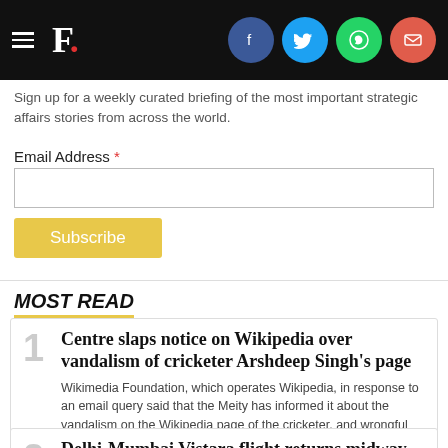F. [logo with social icons: Facebook, Twitter, WhatsApp, Email]
Sign up for a weekly curated briefing of the most important strategic affairs stories from across the world.
Email Address *
MOST READ
Centre slaps notice on Wikipedia over vandalism of cricketer Arshdeep Singh's page
Wikimedia Foundation, which operates Wikipedia, in response to an email query said that the Meity has informed it about the vandalism on the Wikipedia page of the cricketer, and wrongful edits were removed within minutes
Delhi-Mumbai Vistara flight returns midway